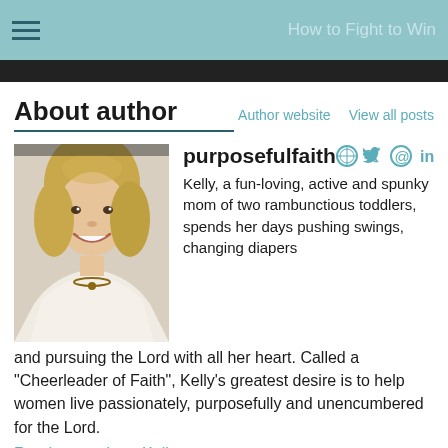How to Fight to Win
About author
Author website   View all posts
[Figure (photo): Photo of Kelly, a blonde woman smiling, wearing a white top and necklace]
purposefulfaith
Kelly, a fun-loving, active and spunky mom of two rambunctious toddlers, spends her days pushing swings, changing diapers and pursuing the Lord with all her heart. Called a "Cheerleader of Faith", Kelly's greatest desire is to help women live passionately, purposefully and unencumbered for the Lord.
Read more about Kelly